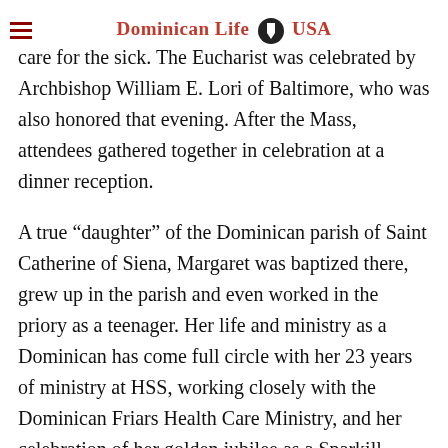Dominican Life USA
care for the sick. The Eucharist was celebrated by Archbishop William E. Lori of Baltimore, who was also honored that evening. After the Mass, attendees gathered together in celebration at a dinner reception.
A true “daughter” of the Dominican parish of Saint Catherine of Siena, Margaret was baptized there, grew up in the parish and even worked in the priory as a teenager. Her life and ministry as a Dominican has come full circle with her 23 years of ministry at HSS, working closely with the Dominican Friars Health Care Ministry, and her celebration of her golden jubilee as a Sparkill Dominican last year.
According to Margaret, the goal of the HSS Pastoral Care Department is to offer spiritual, cultural and emotional support to HSS patients, family and staff. Over the years, she